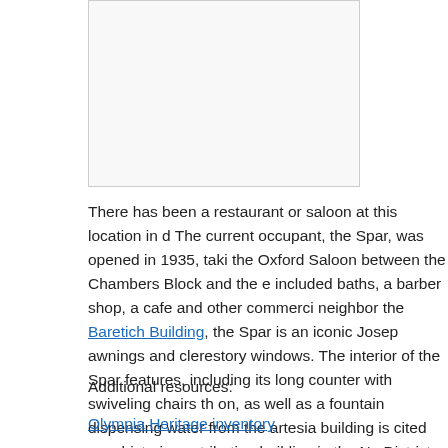[Figure (photo): Partial image of a building or location, cropped at the top of the page]
There has been a restaurant or saloon at this location in d… The current occupant, the Spar, was opened in 1935, taki… the Oxford Saloon between the Chambers Block and the e… included baths, a barber shop, a cafe and other commerci… neighbor the Baretich Building, the Spar is an iconic Josep… awnings and clerestory windows. The interior of the Spar … features, including its long counter with swiveling chairs th… on, as well as a fountain dispensing water from the artesia… building is cited as a historic contributing building in the Na… District and is on the local register.
Additional resources:
Olympia Heritage inventory